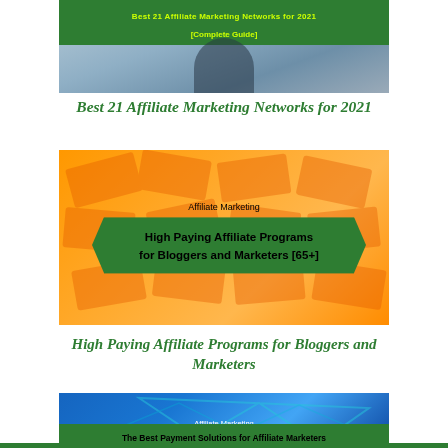[Figure (photo): Photo of a person from behind with a bag, with green overlay banner text 'Best 21 Affiliate Marketing Networks for 2021 [Complete Guide]']
Best 21 Affiliate Marketing Networks for 2021
[Figure (photo): Orange background with dollar bills, green ribbon banner with text 'Affiliate Marketing' and 'High Paying Affiliate Programs for Bloggers and Marketers [65+]']
High Paying Affiliate Programs for Bloggers and Marketers
[Figure (photo): Blue/teal background with abstract shapes, green banner text 'Affiliate Marketing' and 'The Best Payment Solutions for Affiliate Marketers']